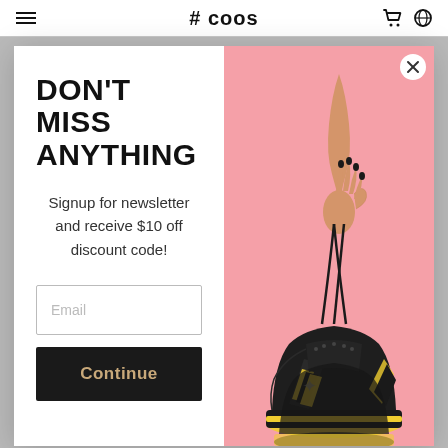# coos (logo/brand navigation bar)
DON'T MISS ANYTHING
Signup for newsletter and receive $10 off discount code!
[Figure (photo): A hand holding a pair of black and yellow sneakers by the laces against a pink/salmon background. The shoe is a dark athletic sneaker with yellow chevron/wave accents on the sides.]
Email
Continue
against the tide of plastic pollution. Every Rens hoodie recycles 12.5 plastic bottles with its coffee yarn to